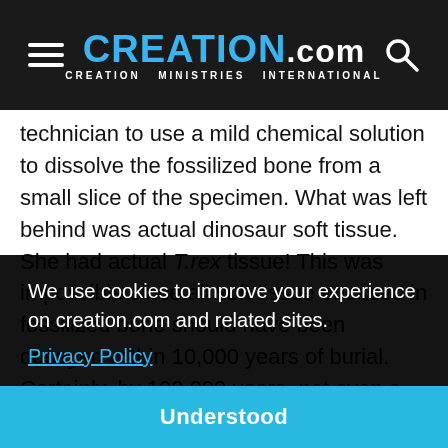CREATION.com — CREATION MINISTRIES INTERNATIONAL
technician to use a mild chemical solution to dissolve the fossilized bone from a small slice of the specimen. What was left behind was actual dinosaur soft tissue. She had actual T.rex tissue! This was impossible since all soft tissue encased in fossilized bone should have been decayed within 10,000 years of burial. Certainly, by 100,000 years, not even a trace of soft tissue should [be left]...
[partially obscured text] ...saur ...with ...e is ...erly
We use cookies to improve your experience on creation.com and related sites.
Privacy Policy
Understood